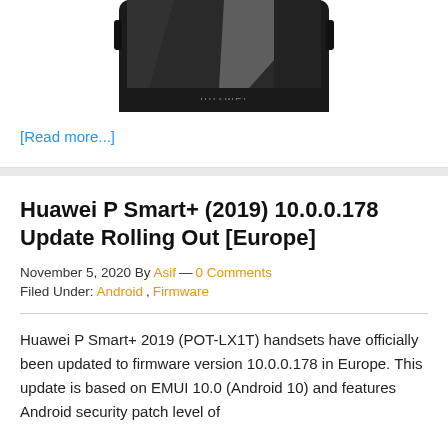[Figure (photo): Partial image of a Huawei smartphone (dark/black device with HUAWEI branding visible on the bottom bezel), cropped at the top]
[Read more...]
Huawei P Smart+ (2019) 10.0.0.178 Update Rolling Out [Europe]
November 5, 2020 By Asif — 0 Comments
Filed Under: Android, Firmware
Huawei P Smart+ 2019 (POT-LX1T) handsets have officially been updated to firmware version 10.0.0.178 in Europe. This update is based on EMUI 10.0 (Android 10) and features Android security patch level of